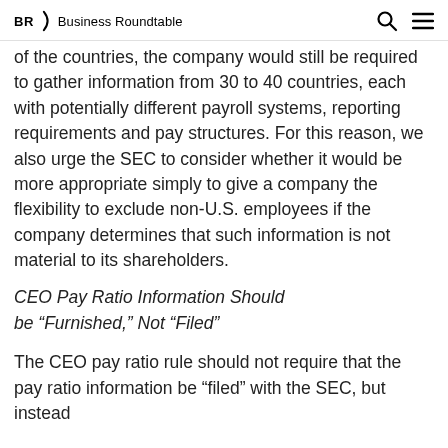BR Business Roundtable
of the countries, the company would still be required to gather information from 30 to 40 countries, each with potentially different payroll systems, reporting requirements and pay structures. For this reason, we also urge the SEC to consider whether it would be more appropriate simply to give a company the flexibility to exclude non-U.S. employees if the company determines that such information is not material to its shareholders.
CEO Pay Ratio Information Should be “Furnished,” Not “Filed”
The CEO pay ratio rule should not require that the pay ratio information be “filed” with the SEC, but instead